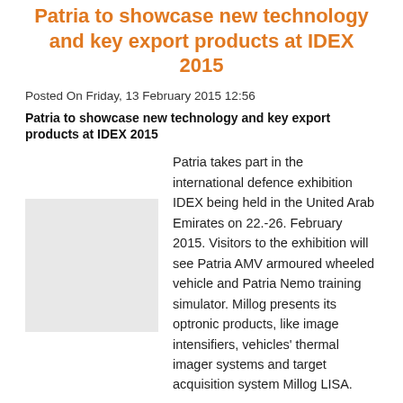Patria to showcase new technology and key export products at IDEX 2015
Posted On Friday, 13 February 2015 12:56
Patria to showcase new technology and key export products at IDEX 2015
[Figure (photo): Image placeholder — photograph related to Patria IDEX 2015 exhibit]
Patria takes part in the international defence exhibition IDEX being held in the United Arab Emirates on 22.-26. February 2015. Visitors to the exhibition will see Patria AMV armoured wheeled vehicle and Patria Nemo training simulator. Millog presents its optronic products, like image intensifiers, vehicles' thermal imager systems and target acquisition system Millog LISA.